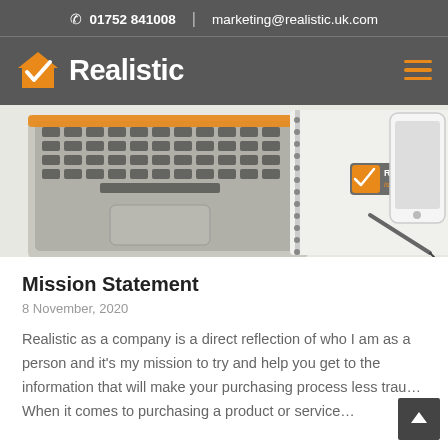01752 841008  |  marketing@realistic.uk.com
[Figure (logo): Realistic company logo with orange house/checkmark icon and white bold text 'Realistic' on dark grey background, with orange hamburger menu icon on right]
[Figure (photo): Desk scene with laptop keyboard on left, spiral notebook in center with Realistic branded sticker, pen, and smartphone on right, on white surface]
Mission Statement
8 November, 2020
Realistic as a company is a direct reflection of who I am as a person and it's my mission to try and help you get to the information that will make your purchasing process less trau… When it comes to purchasing a product or service…